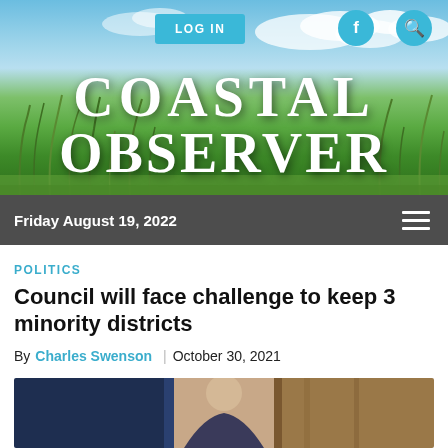COASTAL OBSERVER
Friday August 19, 2022
POLITICS
Council will face challenge to keep 3 minority districts
By Charles Swenson | October 30, 2021
[Figure (photo): Person photographed indoors, partial view at bottom of page]